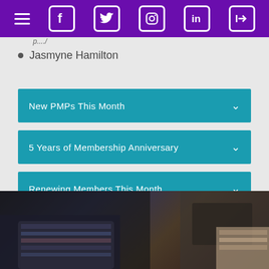Navigation bar with menu, Facebook, Twitter, Instagram, LinkedIn, and login icons
Jasmyne Hamilton
New PMPs This Month
5 Years of Membership Anniversary
Renewing Members This Month
[Figure (photo): Dark photo showing a person seated, wearing striped clothing, partially visible at the bottom of the page]